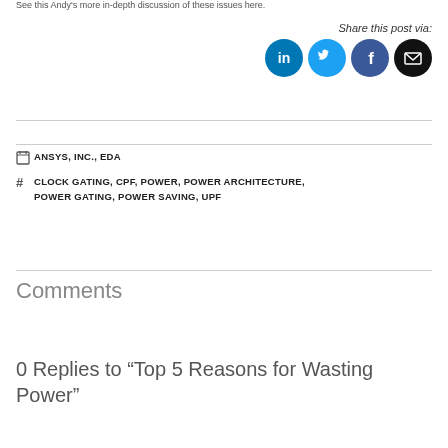See this Andy's more in-depth discussion of these issues here.
[Figure (infographic): Share this post via: LinkedIn, Twitter, Facebook, Email social media icon buttons]
ANSYS, INC., EDA
CLOCK GATING, CPF, POWER, POWER ARCHITECTURE, POWER GATING, POWER SAVING, UPF
Comments
0 Replies to “Top 5 Reasons for Wasting Power”